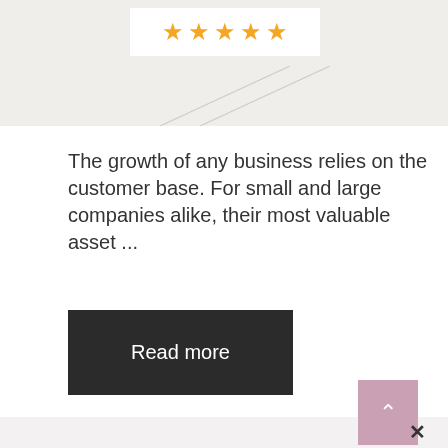[Figure (screenshot): Top banner area with 5 gold stars rating displayed in a white box on a light beige/grey background with diagonal lines]
The growth of any business relies on the customer base. For small and large companies alike, their most valuable asset ...
Read more